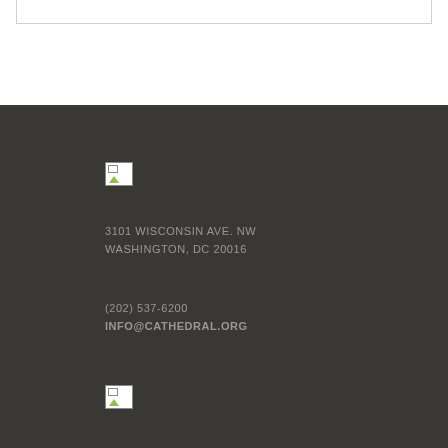[Figure (other): Broken image placeholder at top of dark footer section]
3101 WISCONSIN AVE. NW
WASHINGTON, DC 20016
(202) 537-6200
INFO@CATHEDRAL.ORG
[Figure (other): Broken image placeholder at bottom of dark footer section]